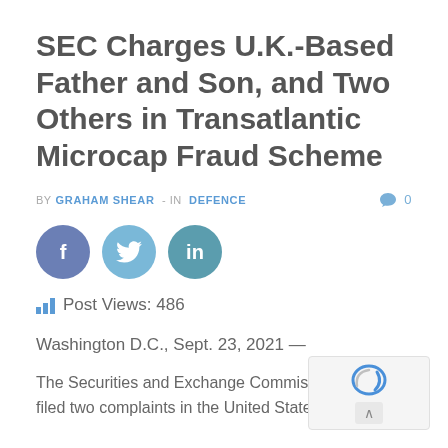SEC Charges U.K.-Based Father and Son, and Two Others in Transatlantic Microcap Fraud Scheme
BY GRAHAM SHEAR - IN DEFENCE  0
[Figure (infographic): Three social share buttons: Facebook (dark blue-grey circle with 'f'), Twitter (light blue circle with bird icon), LinkedIn (teal circle with 'in')]
Post Views: 486
Washington D.C., Sept. 23, 2021 —
The Securities and Exchange Commission tod filed two complaints in the United States Dist